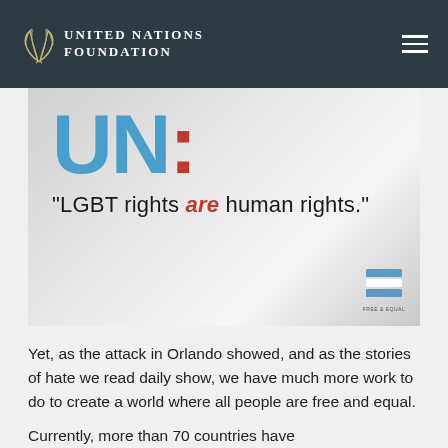UNITED NATIONS FOUNDATION
[Figure (screenshot): Quote image with large blue 'UN:' text followed by the quote '"LGBT rights are human rights."' on a gray gradient background, with a Free & Equal logo in the bottom right corner.]
Yet, as the attack in Orlando showed, and as the stories of hate we read daily show, we have much more work to do to create a world where all people are free and equal.
Currently, more than 70 countries have